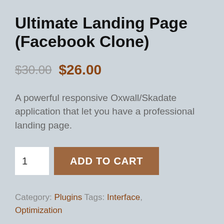Ultimate Landing Page (Facebook Clone)
$30.00 $26.00
A powerful responsive Oxwall/Skadate application that let you have a professional landing page.
1  ADD TO CART
Category: Plugins Tags: Interface, Optimization